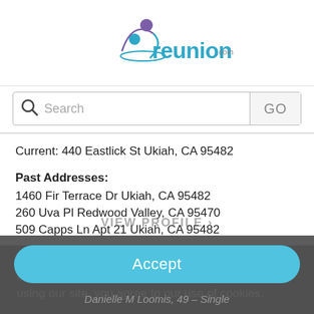[Figure (logo): Reunion.com logo with teal text and purple/teal figure icon]
Search GO
Current: 440 Eastlick St Ukiah, CA 95482
Past Addresses:
1460 Fir Terrace Dr Ukiah, CA 95482
260 Uva Pl Redwood Valley, CA 95470
509 Capps Ln Apt 21 Ukiah, CA 95482
We use cookies to personalize & enhance your experience. Learn more in our Privacy Policy. By using our site, you agree to our use of cookies.
Accept
Danielle M Loomis, 49 – Single